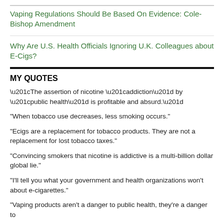Vaping Regulations Should Be Based On Evidence: Cole-Bishop Amendment
Why Are U.S. Health Officials Ignoring U.K. Colleagues about E-Cigs?
MY QUOTES
“The assertion of nicotine “addiction” by “public health” is profitable and absurd.”
"When tobacco use decreases, less smoking occurs."
"Ecigs are a replacement for tobacco products. They are not a replacement for lost tobacco taxes."
"Convincing smokers that nicotine is addictive is a multi-billion dollar global lie."
"I'll tell you what your government and health organizations won't about e-cigarettes."
"Vaping products aren't a danger to public health, they're a danger to